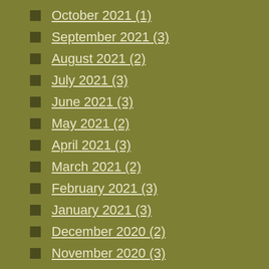October 2021 (1)
September 2021 (3)
August 2021 (2)
July 2021 (3)
June 2021 (3)
May 2021 (2)
April 2021 (3)
March 2021 (2)
February 2021 (3)
January 2021 (3)
December 2020 (2)
November 2020 (3)
October 2020 (2)
September 2020 (6)